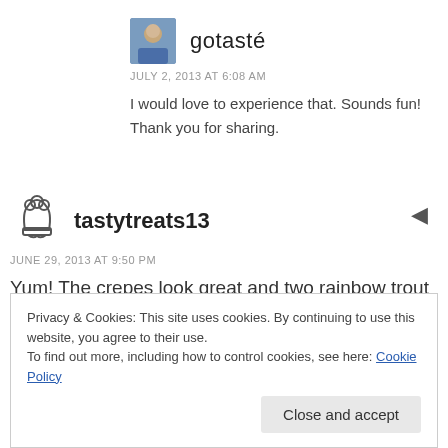[Figure (photo): Avatar photo of user gotasté — small square portrait of a man in a blue shirt]
gotasté
JULY 2, 2013 AT 6:08 AM
I would love to experience that. Sounds fun! Thank you for sharing.
[Figure (illustration): Chef hat icon for user tastytreats13]
tastytreats13
JUNE 29, 2013 AT 9:50 PM
Yum! The crepes look great and two rainbow trout is very impressive!
Privacy & Cookies: This site uses cookies. By continuing to use this website, you agree to their use.
To find out more, including how to control cookies, see here: Cookie Policy